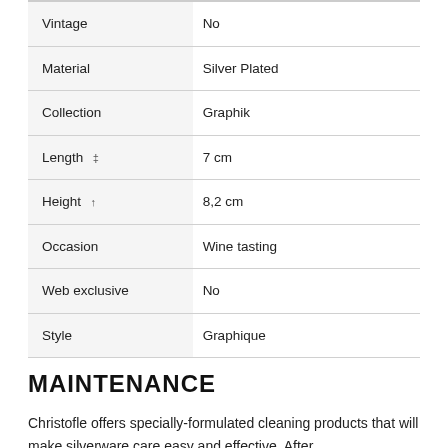| Attribute | Value |
| --- | --- |
| Vintage | No |
| Material | Silver Plated |
| Collection | Graphik |
| Length ‡ | 7 cm |
| Height ↑ | 8,2 cm |
| Occasion | Wine tasting |
| Web exclusive | No |
| Style | Graphique |
MAINTENANCE
Christofle offers specially-formulated cleaning products that will make silverware care easy and effective. After